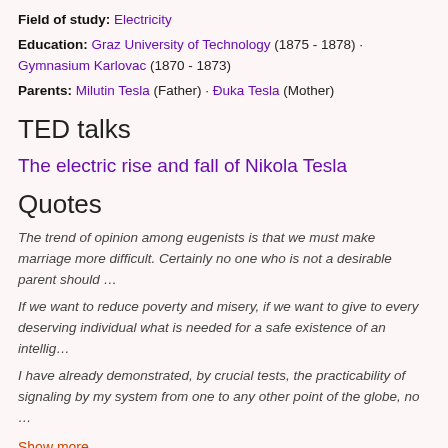Field of study: Electricity
Education: Graz University of Technology (1875 - 1878) · Gymnasium Karlovac (1870 - 1873)
Parents: Milutin Tesla (Father) · Đuka Tesla (Mother)
TED talks
The electric rise and fall of Nikola Tesla
Quotes
The trend of opinion among eugenists is that we must make marriage more difficult. Certainly no one who is not a desirable parent should …
If we want to reduce poverty and misery, if we want to give to every deserving individual what is needed for a safe existence of an intellig…
I have already demonstrated, by crucial tests, the practicability of signaling by my system from one to any other point of the globe, no …
Show more
[Figure (photo): Book cover showing Christopher Claude with a person's face visible below header text]
Timeline